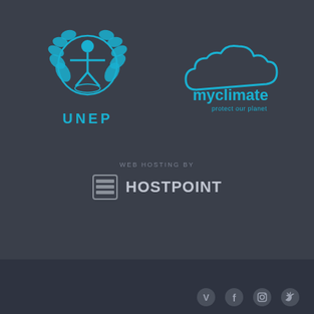[Figure (logo): UNEP (United Nations Environment Programme) logo - circular emblem with human figure and laurel wreath in cyan/blue color, with UNEP text below]
[Figure (logo): myclimate logo - cloud shape in cyan/blue with 'myclimate' text and tagline 'protect our planet' below]
WEB HOSTING BY
[Figure (logo): Hostpoint logo - server rack icon square followed by HOSTPOINT text in gray/white]
[Figure (other): Social media icons row at bottom right: Vimeo, Facebook, Instagram, Twitter]